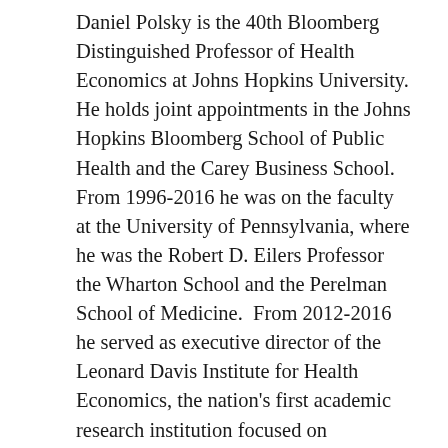Daniel Polsky is the 40th Bloomberg Distinguished Professor of Health Economics at Johns Hopkins University. He holds joint appointments in the Johns Hopkins Bloomberg School of Public Health and the Carey Business School.  From 1996-2016 he was on the faculty at the University of Pennsylvania, where he was the Robert D. Eilers Professor the Wharton School and the Perelman School of Medicine.  From 2012-2016 he served as executive director of the Leonard Davis Institute for Health Economics, the nation's first academic research institution focused on interdisciplinary solutions to health care delivery and policy, leading 300 senior fellows and their $110 million research portfolio to address health care system challenges of affordability, access, value, and equity. Dr. Polsky a national leader in the field of health policy and economics, has dedicated his career to exploring how health care is organized, managed, financed, and delivered—especially for low-income people.